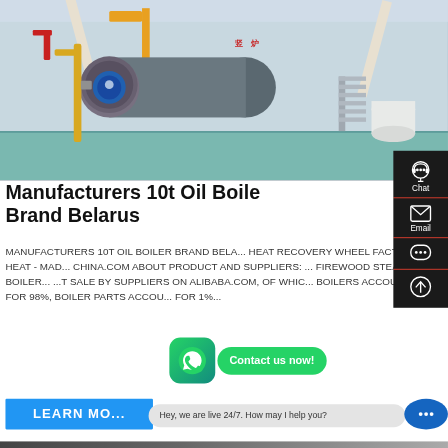[Figure (photo): Industrial boiler facility interior showing a large grey horizontal cylindrical boiler with blue electric motor mounted on front, yellow piping, red pipe fittings, and white cylindrical tanks in background, inside a large industrial building with blue floor]
Manufacturers 10t Oil Boiler Brand Belarus
MANUFACTURERS 10T OIL BOILER BRAND BELARUS ... HEAT RECOVERY WHEEL FACTORY, HEAT - MADE-IN-CHINA.COM ABOUT PRODUCT AND SUPPLIERS: ... FIREWOOD STEAM BOILERS ... FOR SALE BY SUPPLIERS ON ALIBABA.COM, OF WHICH BOILERS ACCOUNTS FOR 98%, BOILER PARTS ACCOUNTS FOR 1%...
[Figure (screenshot): WhatsApp icon button (green rounded square with white phone handset) and green 'Contact us now!' call-to-action bubble]
[Figure (infographic): Right sidebar with dark background showing Chat (headset icon), Email (envelope icon), and messaging icons with red dividers, plus an up-arrow scroll button]
LEARN MO...
Hey, we are live 24/7. How may I help you?
[Figure (photo): Bottom thumbnail showing another industrial machinery or boiler scene]